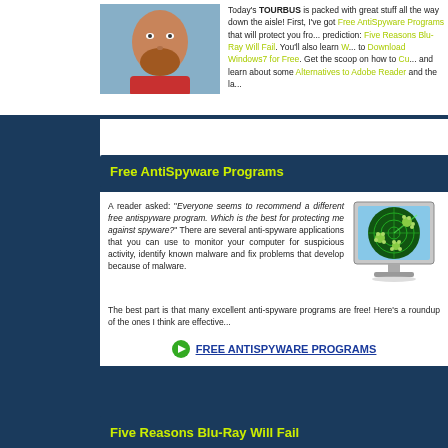Today's TOURBUS is packed with great stuff all the way down the aisle! First, I've got Free AntiSpyware Programs that will protect you from... prediction: Five Reasons Blu-Ray Will Fail. You'll also learn W... to Download Windows7 for Free. Get the scoop on how to Cu... and learn about some Alternatives to Adobe Reader and the la...
[Figure (photo): Photo of a man with a beard]
Free AntiSpyware Programs
A reader asked: "Everyone seems to recommend a different free antispyware program. Which is the best for protecting me against spyware?" There are several anti-spyware applications that you can use to monitor your computer for suspicious activity, identify known malware and fix problems that develop because of malware.
[Figure (illustration): Illustration of a computer monitor showing a radar screen with spyware/virus icons]
The best part is that many excellent anti-spyware programs are free! Here's a roundup of the ones I think are effective...
FREE ANTISPYWARE PROGRAMS
Five Reasons Blu-Ray Will Fail